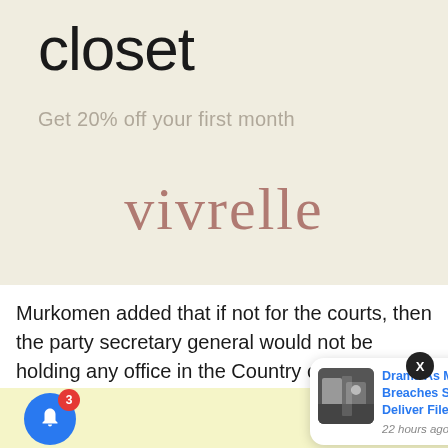closet
Get 20% off your first month
[Figure (logo): Vivrelle brand logo in muted rose/terracotta color on light beige background]
Murkomen added that if not for the courts, then the party secretary general would not be holding any office in the Country currently.
[Figure (screenshot): Push notification card showing 'Drama As Man Breaches Security To Deliver File To' with thumbnail image and '22 hours ago' timestamp]
[Figure (infographic): Blue notification bell button with red badge showing count 3, on yellow background]